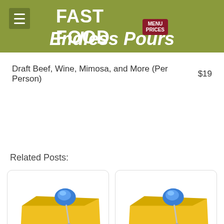FAST FOOD MENU PRICES
Endless Pours
| Item | Price |
| --- | --- |
| Draft Beef, Wine, Mimosa, and More (Per Person) | $19 |
Related Posts:
[Figure (illustration): Blue pushpin on yellow sticky note]
Home Town Buffet Menu Prices
[Figure (illustration): Blue pushpin on yellow sticky note]
Old Country Buffet Menu Prices
[Figure (illustration): Blue pushpin on yellow sticky note (partially visible)]
[Figure (illustration): Blue pushpin on yellow sticky note (partially visible)]
Aria Buffet Menu With